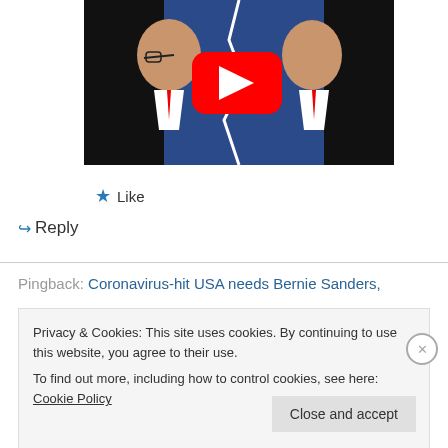[Figure (screenshot): YouTube video thumbnail showing two illustrated political figures facing each other against a blue background, with a red YouTube play button in the center]
★ Like
↳ Reply
Pingback: Coronavirus-hit USA needs Bernie Sanders,
Privacy & Cookies: This site uses cookies. By continuing to use this website, you agree to their use.
To find out more, including how to control cookies, see here: Cookie Policy
Close and accept